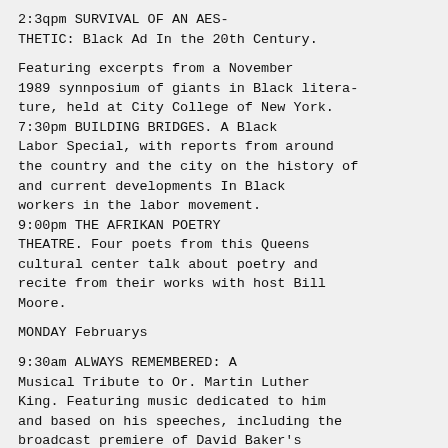2:3qpm SURVIVAL OF AN AES-THETIC: Black Ad In the 20th Century.
Featuring excerpts from a November 1989 synnposium of giants in Black literature, held at City College of New York.
7:30pm BUILDING BRIDGES. A Black Labor Special, with reports from around the country and the city on the history of and current developments In Black workers in the labor movement.
9:00pm THE AFRIKAN POETRY THEATRE. Four poets from this Queens cultural center talk about poetry and recite from their works with host Bill Moore.
MONDAY Februarys
9:30am ALWAYS REMEMBERED: A Musical Tribute to Or. Martin Luther King. Featuring music dedicated to him and based on his speeches, including the broadcast premiere of David Baker's